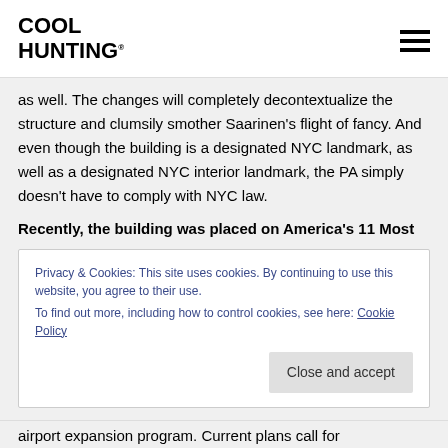COOL HUNTING®
as well. The changes will completely decontextualize the structure and clumsily smother Saarinen's flight of fancy. And even though the building is a designated NYC landmark, as well as a designated NYC interior landmark, the PA simply doesn't have to comply with NYC law.
Recently, the building was placed on America's 11 Most
Privacy & Cookies: This site uses cookies. By continuing to use this website, you agree to their use.
To find out more, including how to control cookies, see here: Cookie Policy
Close and accept
airport expansion program. Current plans call for